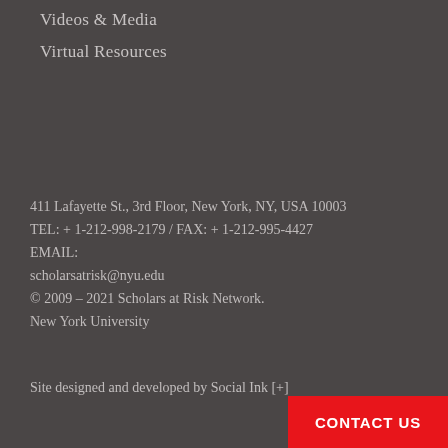Videos & Media
Virtual Resources
411 Lafayette St., 3rd Floor, New York, NY, USA 10003
TEL: + 1-212-998-2179 / FAX: + 1-212-995-4427
EMAIL:
scholarsatrisk@nyu.edu
© 2009 – 2021 Scholars at Risk Network.
New York University
Site designed and developed by Social Ink [+]
CONTACT US